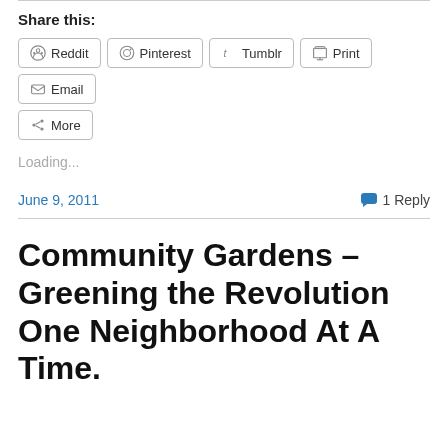Share this:
Reddit  Pinterest  Tumblr  Print  Email  More
Loading...
June 9, 2011    1 Reply
Community Gardens – Greening the Revolution One Neighborhood At A Time.